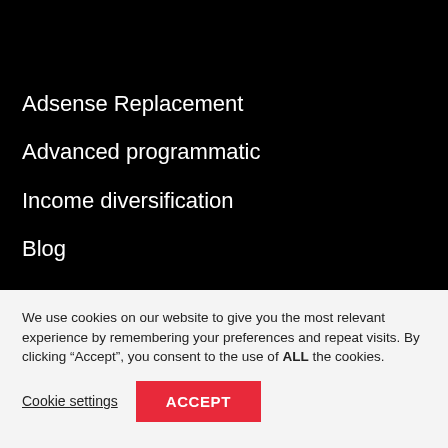Adsense Replacement
Advanced programmatic
Income diversification
Blog
We use cookies on our website to give you the most relevant experience by remembering your preferences and repeat visits. By clicking “Accept”, you consent to the use of ALL the cookies.
Cookie settings
ACCEPT